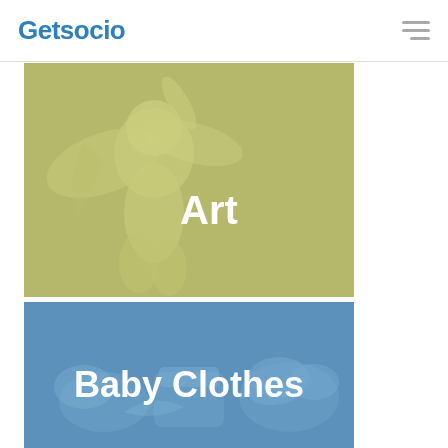Getsocio
[Figure (illustration): Category card for Art featuring a golden-olive tinted illustration of a classical winged angel/cherub sculpture with the label 'Art' in white bold text]
[Figure (illustration): Category card for Baby Clothes featuring a blue-tinted illustration of folded baby clothing/garments with the label 'Baby Clothes' in white bold text]